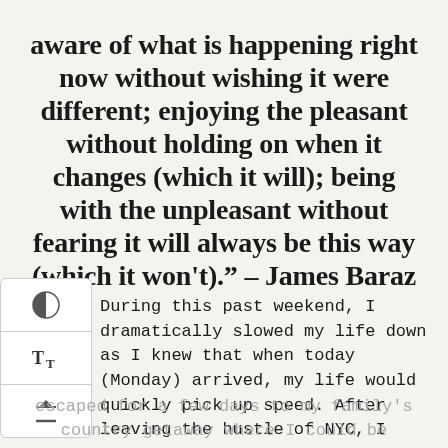aware of what is happening right now without wishing it were different; enjoying the pleasant without holding on when it changes (which it will); being with the unpleasant without fearing it will always be this way (which it won't)." – James Baraz
[Figure (other): App sidebar with contrast, font size, and scroll-to-top icons]
During this past weekend, I dramatically slowed my life down as I knew that when today (Monday) arrived, my life would quickly pick up speed. After leaving the hustle of NYC, I escaped for a few days to my family's country getaway where I could be